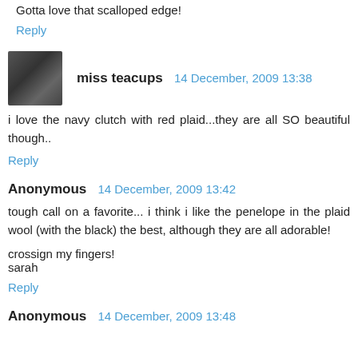Gotta love that scalloped edge!
Reply
miss teacups  14 December, 2009 13:38
i love the navy clutch with red plaid...they are all SO beautiful though..
Reply
Anonymous  14 December, 2009 13:42
tough call on a favorite... i think i like the penelope in the plaid wool (with the black) the best, although they are all adorable!

crossign my fingers!
sarah
Reply
Anonymous  14 December, 2009 13:48